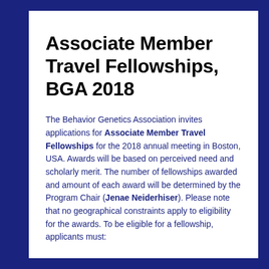Associate Member Travel Fellowships, BGA 2018
The Behavior Genetics Association invites applications for Associate Member Travel Fellowships for the 2018 annual meeting in Boston, USA. Awards will be based on perceived need and scholarly merit. The number of fellowships awarded and amount of each award will be determined by the Program Chair (Jenae Neiderhiser). Please note that no geographical constraints apply to eligibility for the awards. To be eligible for a fellowship, applicants must: